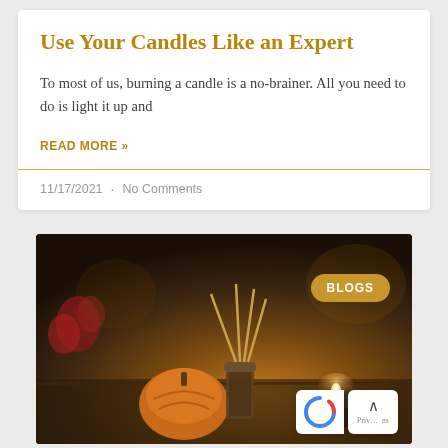Use Your Candles Like an Expert
To most of us, burning a candle is a no-brainer. All you need to do is light it up and
READ MORE »
11/17/2021  ·  No Comments
[Figure (photo): Autumn-themed photo showing a reed diffuser, small tealight candle in a dark holder, a pumpkin, red flowers, and warm bokeh background. A 'BLOGS' badge appears in the top right corner.]